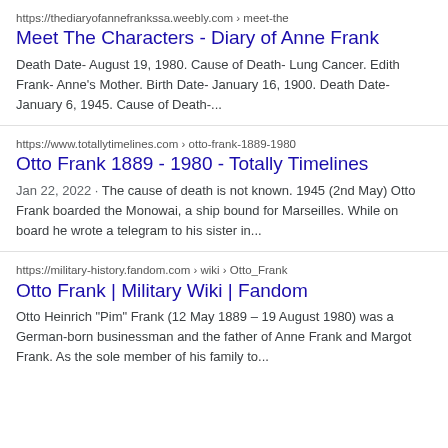https://thediaryofannefrankssa.weebly.com › meet-the
Meet The Characters - Diary of Anne Frank
Death Date- August 19, 1980. Cause of Death- Lung Cancer. Edith Frank- Anne's Mother. Birth Date- January 16, 1900. Death Date- January 6, 1945. Cause of Death-...
https://www.totallytimelines.com › otto-frank-1889-1980
Otto Frank 1889 - 1980 - Totally Timelines
Jan 22, 2022 · The cause of death is not known. 1945 (2nd May) Otto Frank boarded the Monowai, a ship bound for Marseilles. While on board he wrote a telegram to his sister in...
https://military-history.fandom.com › wiki › Otto_Frank
Otto Frank | Military Wiki | Fandom
Otto Heinrich "Pim" Frank (12 May 1889 – 19 August 1980) was a German-born businessman and the father of Anne Frank and Margot Frank. As the sole member of his family to...